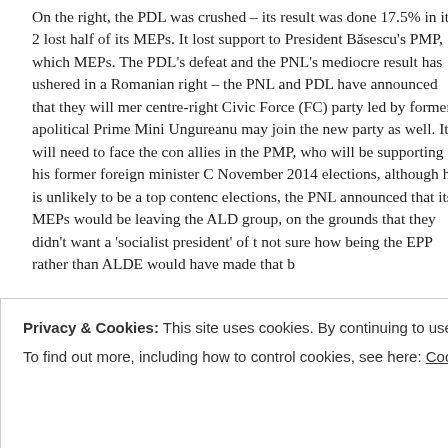On the right, the PDL was crushed – its result was done 17.5% in its 2... lost half of its MEPs. It lost support to President Băsescu's PMP, which MEPs. The PDL's defeat and the PNL's mediocre result has ushered in a Romanian right – the PNL and PDL have announced that they will mer centre-right Civic Force (FC) party led by former apolitical Prime Mini Ungureanu may join the new party as well. It will need to face the con allies in the PMP, who will be supporting his former foreign minister C November 2014 elections, although he is unlikely to be a top contend elections, the PNL announced that its MEPs would be leaving the ALD group, on the grounds that they didn't want a 'socialist president' of t not sure how being the EPP rather than ALDE would have made that b
For the third successive time, Romanians elected one independent M Mircea Diaconu, a former actor and culture minister associated with t originally rejected by the electoral authorities, but reinstated by an a
Privacy & Cookies: This site uses cookies. By continuing to use this website, you agree to their use. To find out more, including how to control cookies, see here: Cookie Policy
[Figure (illustration): Colorful decorative banner with doodles and patterns in orange, red, purple, blue, and teal gradient.]